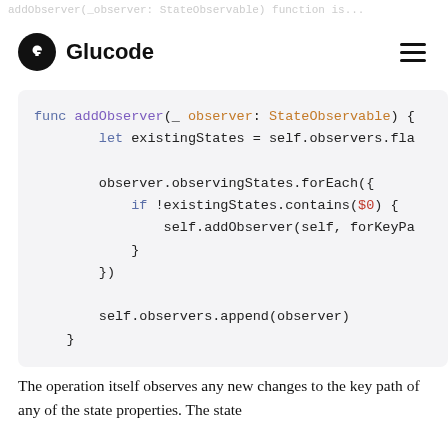addObserver(_observer: StateObservable) function is...
[Figure (logo): Glucode logo with black circle containing white G icon and text 'Glucode']
[Figure (screenshot): Swift code block showing func addObserver(_ observer: StateObservable) with let existingStates = self.observers.fla, observer.observingStates.forEach({ if !existingStates.contains($0) { self.addObserver(self, forKeyPa } }), self.observers.append(observer) }]
The operation itself observes any new changes to the key path of any of the state properties. The state